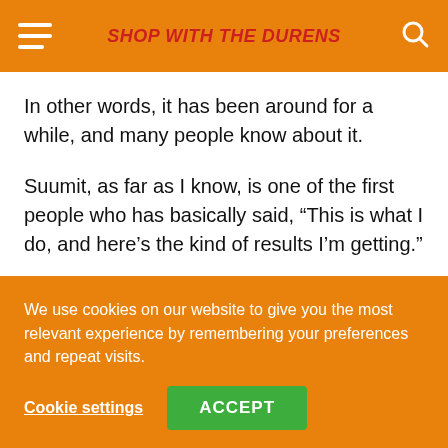SHOP WITH THE DURENS
In other words, it has been around for a while, and many people know about it.
Suumit, as far as I know, is one of the first people who has basically said, “This is what I do, and here’s the kind of results I’m getting.”
However, he’s certainly not alone.
We use cookies on our website to give you the most relevant experience by remembering your preferences and repeat visits.